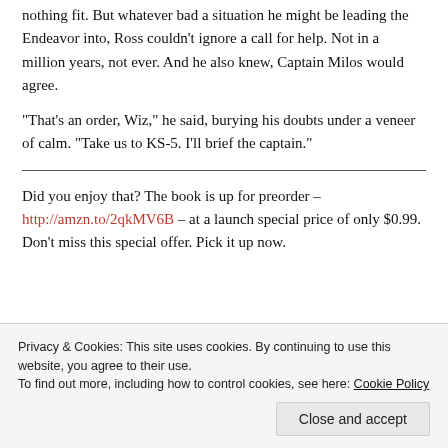nothing fit. But whatever bad a situation he might be leading the Endeavor into, Ross couldn't ignore a call for help. Not in a million years, not ever. And he also knew, Captain Milos would agree.
“That’s an order, Wiz,” he said, burying his doubts under a veneer of calm. “Take us to KS-5. I’ll brief the captain.”
Did you enjoy that? The book is up for preorder – http://amzn.to/2qkMV6B – at a launch special price of only $0.99. Don’t miss this special offer. Pick it up now.
Privacy & Cookies: This site uses cookies. By continuing to use this website, you agree to their use.
To find out more, including how to control cookies, see here: Cookie Policy